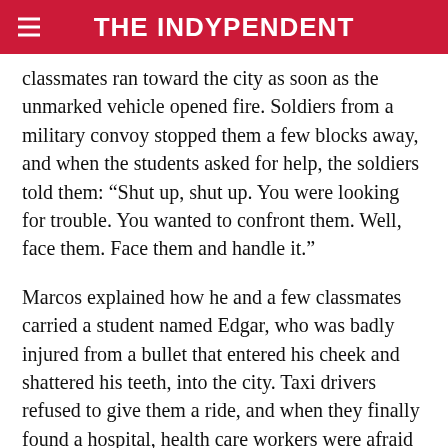THE INDYPENDENT
classmates ran toward the city as soon as the unmarked vehicle opened fire. Soldiers from a military convoy stopped them a few blocks away, and when the students asked for help, the soldiers told them: “Shut up, shut up. You were looking for trouble. You wanted to confront them. Well, face them. Face them and handle it.”
Marcos explained how he and a few classmates carried a student named Edgar, who was badly injured from a bullet that entered his cheek and shattered his teeth, into the city. Taxi drivers refused to give them a ride, and when they finally found a hospital, health care workers were afraid to help them because they feared for their own lives.